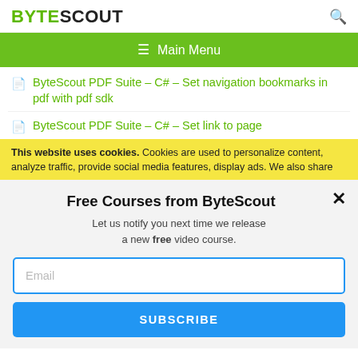BYTESCOUT
ByteScout PDF Suite – C# – Set navigation bookmarks in pdf with pdf sdk
ByteScout PDF Suite – C# – Set link to page
This website uses cookies. Cookies are used to personalize content, analyze traffic, provide social media features, display ads. We also share
Free Courses from ByteScout
Let us notify you next time we release a new free video course.
Email
SUBSCRIBE